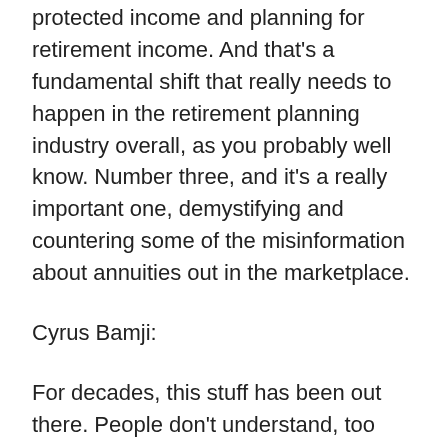protected income and planning for retirement income. And that's a fundamental shift that really needs to happen in the retirement planning industry overall, as you probably well know. Number three, and it's a really important one, demystifying and countering some of the misinformation about annuities out in the marketplace.
Cyrus Bamji:
For decades, this stuff has been out there. People don't understand, too complex, too hard to understand, heard its bad, high fees, all these different issues, and questions. So we kind of counter some of that, both in the media and the industry, along with, for having dignity. And the